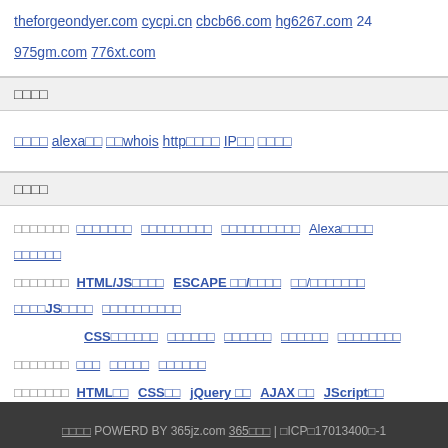theforgeondyer.com  cycpi.cn  cbcb66.com  hg6267.com  24...  975gm.com  776xt.com
□□□□
□□□□  alexa□□  □□whois  http□□□□  IP□□  □□□□
□□□□
□□□□□□□ □□□□□□□  □□□□□□□□□  □□□□□□□□□□  Alexa□□□□  □□□□□□
□□□□□□□ HTML/JS□□□□  ESCAPE □□/□□□□  □□/□□□□□□□  □□□□JS□□□□  □□□□□□□□□□
CSS□□□□□□  □□□□□□  □□□□□□  □□□□□□  □□□□□□□□
□□□□□□□ □□□  □□□□□  □□□□□□
□□□□□□□ HTML□□  CSS□□  jQuery □□  AJAX □□  JScript□□  PHP□□  MYS...
□□□□ POWERD BY 365jz.com 365□□□ | □ICP□17013400□-1